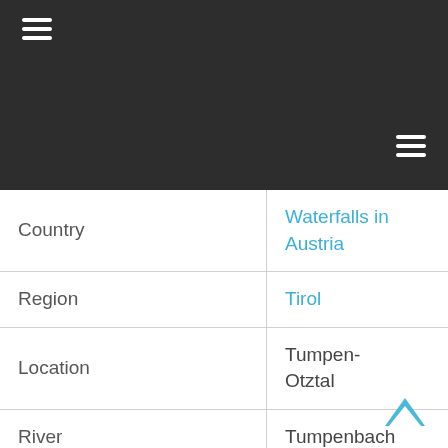| Field | Value |
| --- | --- |
| Country | Waterfalls in Austria |
| Region | Tirol |
| Location | Tumpen-Otztal |
| River | Tumpenbach |
| Height | 62-180m |
| Latitude | 47.174952 |
| Longitude | 10.901686 |
| Best visit | June-July |
| Rating | 3/5 stars |